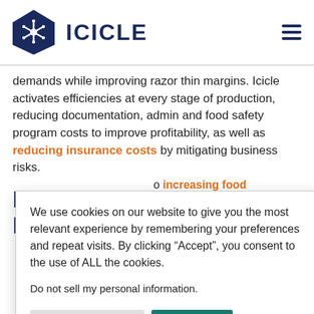ICICLE
demands while improving razor thin margins. Icicle activates efficiencies at every stage of production, reducing documentation, admin and food safety program costs to improve profitability, as well as reducing insurance costs by mitigating business risks.
Icicle Protects Profitability for
o increasing food all other materials rices, have pushed hese ocessors need to d production to ible.
We use cookies on our website to give you the most relevant experience by remembering your preferences and repeat visits. By clicking “Accept”, you consent to the use of ALL the cookies.

Do not sell my personal information.